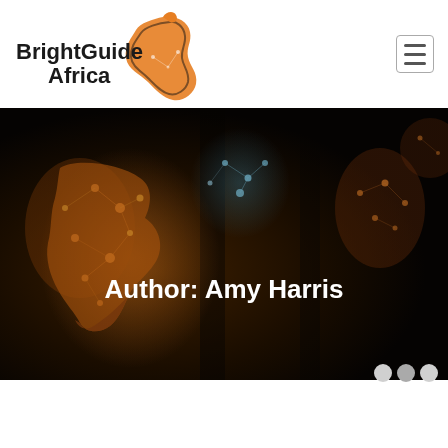[Figure (logo): BrightGuide Africa logo with orange Africa continent shape and black text]
[Figure (photo): Dark hero background image showing a glowing orange digital network map of Africa and other continents against a dark background]
Author: Amy Harris